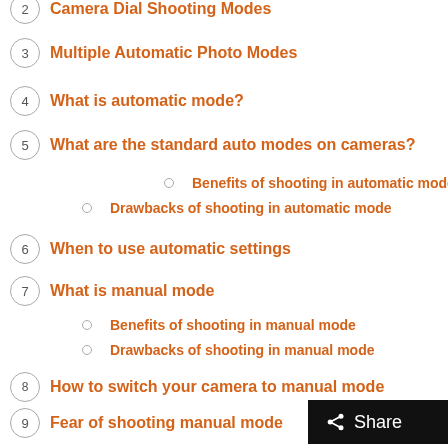2 Camera Dial Shooting Modes
3 Multiple Automatic Photo Modes
4 What is automatic mode?
5 What are the standard auto modes on cameras?
Benefits of shooting in automatic mode
Drawbacks of shooting in automatic mode
6 When to use automatic settings
7 What is manual mode
Benefits of shooting in manual mode
Drawbacks of shooting in manual mode
8 How to switch your camera to manual mode
9 Fear of shooting manual mode
10 Automatic mode as a kick-starter to manual
11 When to use manual settings
12 Manual settings vs manual focus – what's the difference